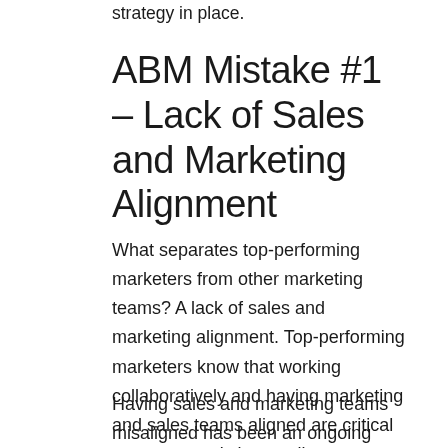strategy in place.
ABM Mistake #1 – Lack of Sales and Marketing Alignment
What separates top-performing marketers from other marketing teams? A lack of sales and marketing alignment. Top-performing marketers know that working collaboratively and having marketing and sales teams aligned are critical to a company's bottom line.
Having sales and marketing teams misaligned has been an ongoing problem